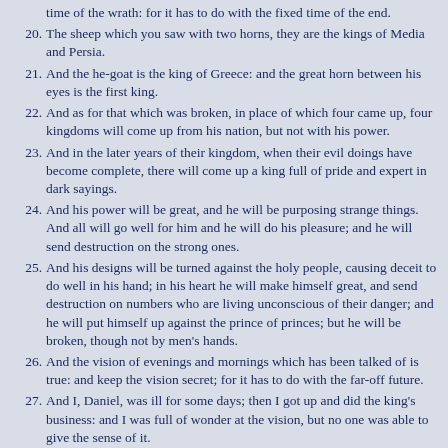time of the wrath: for it has to do with the fixed time of the end.
20. The sheep which you saw with two horns, they are the kings of Media and Persia.
21. And the he-goat is the king of Greece: and the great horn between his eyes is the first king.
22. And as for that which was broken, in place of which four came up, four kingdoms will come up from his nation, but not with his power.
23. And in the later years of their kingdom, when their evil doings have become complete, there will come up a king full of pride and expert in dark sayings.
24. And his power will be great, and he will be purposing strange things. And all will go well for him and he will do his pleasure; and he will send destruction on the strong ones.
25. And his designs will be turned against the holy people, causing deceit to do well in his hand; in his heart he will make himself great, and send destruction on numbers who are living unconscious of their danger; and he will put himself up against the prince of princes; but he will be broken, though not by men's hands.
26. And the vision of evenings and mornings which has been talked of is true: and keep the vision secret; for it has to do with the far-off future.
27. And I, Daniel, was ill for some days; then I got up and did the king's business: and I was full of wonder at the vision, but no one was able to give the sense of it.
Ezekiel Daniel chapter 7 Daniel chapter 9 Hosea
King James Version (strong number)